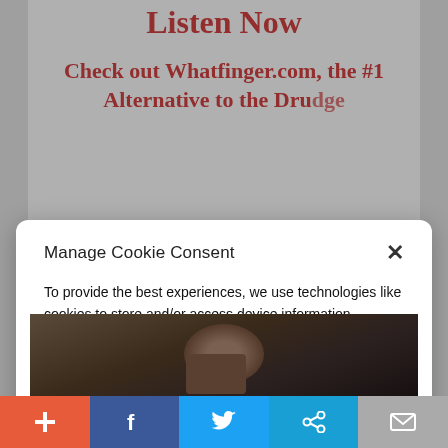Listen Now
Check out Whatfinger.com, the #1 Alternative to the Drudge
Manage Cookie Consent
To provide the best experiences, we use technologies like cookies to store and/or access device information. Consenting to these technologies will allow us to process data such as website statistics. Not consenting or withdrawing consent, may adversely affect certain features and functions.
Accept
Cookie Policy  Privacy Policy
[Figure (photo): Partial view of a person's face, dark background, bottom portion of the page]
[Figure (infographic): Social sharing bar at bottom with plus, Facebook, Twitter, share, and email icons]